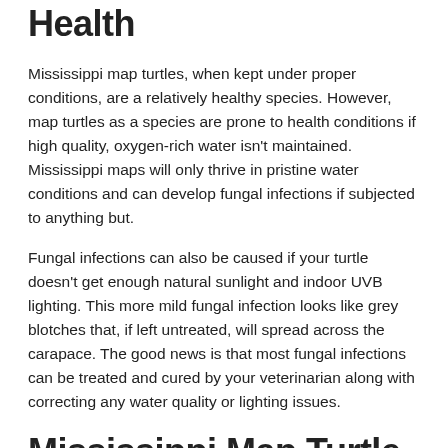Mississippi Map Turtle Health
Mississippi map turtles, when kept under proper conditions, are a relatively healthy species. However, map turtles as a species are prone to health conditions if high quality, oxygen-rich water isn't maintained. Mississippi maps will only thrive in pristine water conditions and can develop fungal infections if subjected to anything but.
Fungal infections can also be caused if your turtle doesn't get enough natural sunlight and indoor UVB lighting. This more mild fungal infection looks like grey blotches that, if left untreated, will spread across the carapace. The good news is that most fungal infections can be treated and cured by your veterinarian along with correcting any water quality or lighting issues.
Mississippi Map Turtle